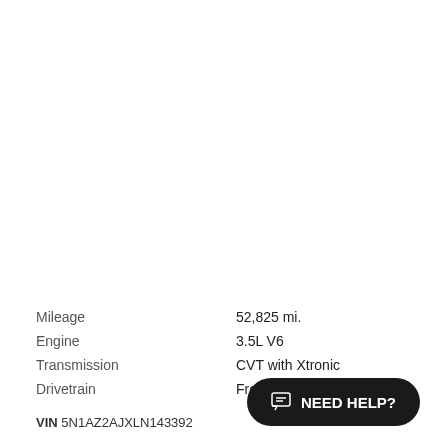| Label | Value |
| --- | --- |
| Mileage | 52,825 mi. |
| Engine | 3.5L V6 |
| Transmission | CVT with Xtronic |
| Drivetrain | Front-Wheel Drive |
VIN 5N1AZ2AJXLN143392